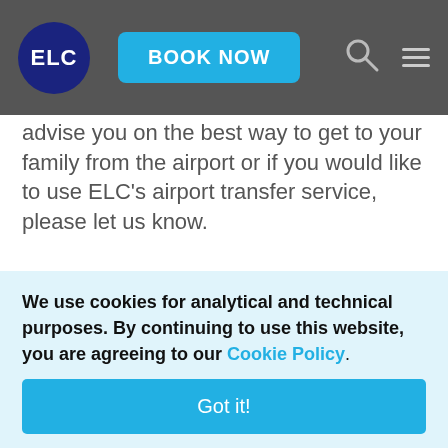ELC | BOOK NOW
advise you on the best way to get to your family from the airport or if you would like to use ELC's airport transfer service, please let us know.
Top
Courses
We use cookies for analytical and technical purposes. By continuing to use this website, you are agreeing to our Cookie Policy.
Got it!